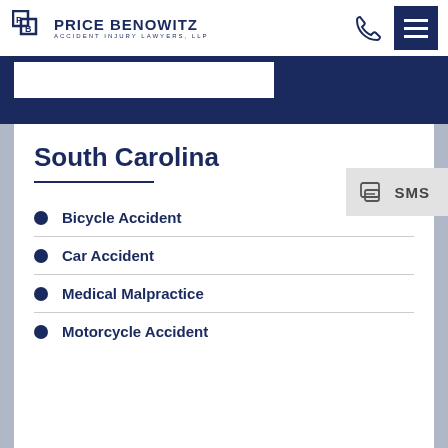Price Benowitz Accident Injury Lawyers, LLP
South Carolina
Bicycle Accident
Car Accident
Medical Malpractice
Motorcycle Accident